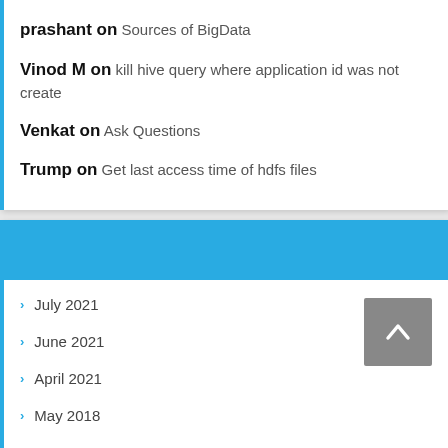prashant on Sources of BigData
Vinod M on kill hive query where application id was not create
Venkat on Ask Questions
Trump on Get last access time of hdfs files
July 2021
June 2021
April 2021
May 2018
January 2018
November 2017